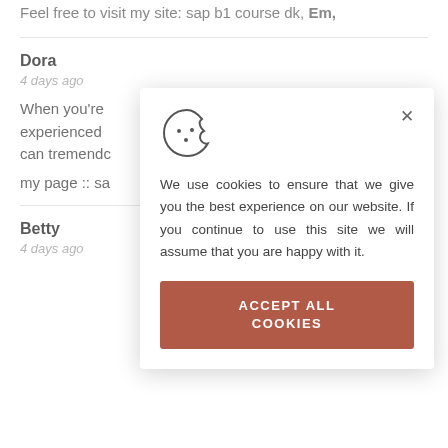Feel free to visit my site: sap b1 course dk, Em,
Dora
4 days ago
When you're experienced can tremendo
my page :: sa
Betty
4 days ago
[Figure (screenshot): Cookie consent modal with cookie icon, close button (×), text 'We use cookies to ensure that we give you the best experience on our website. If you continue to use this site we will assume that you are happy with it.', and a terracotta-colored 'ACCEPT ALL COOKIES' button.]